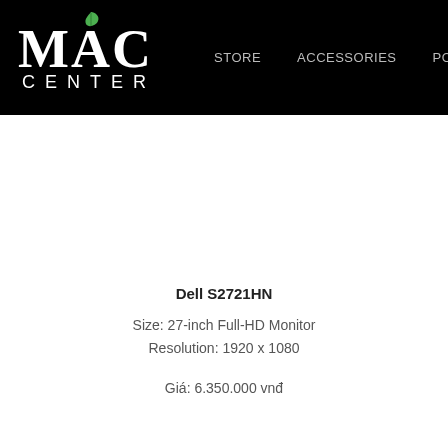[Figure (logo): MAC CENTER logo with green leaf above the A in MAC, white text on black background]
STORE   ACCESSORIES   POWER & CA
Dell S2721HN
Size: 27-inch Full-HD Monitor
Resolution: 1920 x 1080
Giá: 6.350.000 vnđ